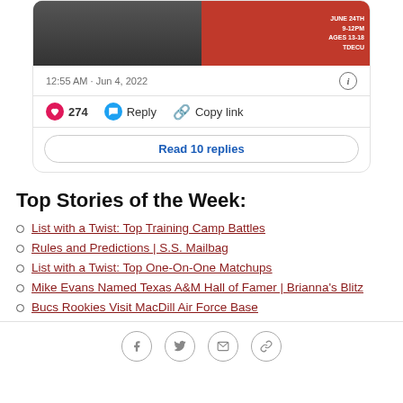[Figure (screenshot): Partial social media post card showing two sports event images side by side]
12:55 AM · Jun 4, 2022
274  Reply  Copy link
Read 10 replies
Top Stories of the Week:
List with a Twist: Top Training Camp Battles
Rules and Predictions | S.S. Mailbag
List with a Twist: Top One-On-One Matchups
Mike Evans Named Texas A&M Hall of Famer | Brianna's Blitz
Bucs Rookies Visit MacDill Air Force Base
Social share icons: Facebook, Twitter, Email, Link